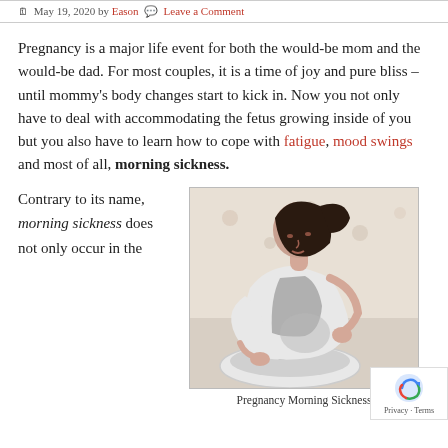May 19, 2020 by Eason  Leave a Comment
Pregnancy is a major life event for both the would-be mom and the would-be dad. For most couples, it is a time of joy and pure bliss – until mommy's body changes start to kick in. Now you not only have to deal with accommodating the fetus growing inside of you but you also have to learn how to cope with fatigue, mood swings and most of all, morning sickness.
Contrary to its name, morning sickness does not only occur in the
[Figure (photo): A pregnant woman leaning over a bathroom sink, appearing nauseous, wearing a white cardigan, with a floral wallpaper background.]
Pregnancy Morning Sickness